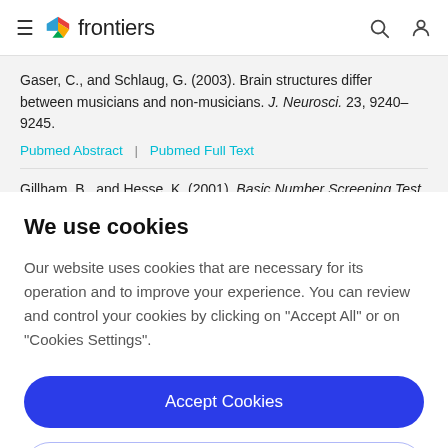frontiers
Gaser, C., and Schlaug, G. (2003). Brain structures differ between musicians and non-musicians. J. Neurosci. 23, 9240–9245.
Pubmed Abstract | Pubmed Full Text
Gillham, B., and Hesse, K. (2001). Basic Number Screening Test.
We use cookies
Our website uses cookies that are necessary for its operation and to improve your experience. You can review and control your cookies by clicking on "Accept All" or on "Cookies Settings".
Accept Cookies
Cookies Settings